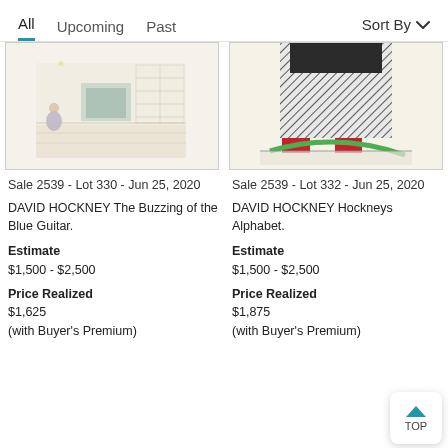All   Upcoming   Past   Sort By
[Figure (illustration): Artwork thumbnail for Sale 2539 Lot 330 - interior room scene with figure, drawn in pencil/light colors]
[Figure (illustration): Artwork thumbnail for Sale 2539 Lot 332 - lower body of figure in patterned clothing with red shoes and green swoosh]
Sale 2539 - Lot 330 - Jun 25, 2020
Sale 2539 - Lot 332 - Jun 25, 2020
DAVID HOCKNEY The Buzzing of the Blue Guitar.
DAVID HOCKNEY Hockneys Alphabet.
Estimate
$1,500 - $2,500
Estimate
$1,500 - $2,500
Price Realized
$1,625
(with Buyer's Premium)
Price Realized
$1,875
(with Buyer's Premium)